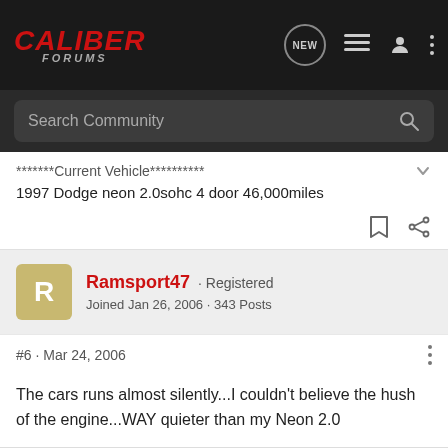CALIBER FORUMS
*******Current Vehicle**********
1997 Dodge neon 2.0sohc 4 door 46,000miles
Ramsport47 · Registered
Joined Jan 26, 2006 · 343 Posts
#6 · Mar 24, 2006
The cars runs almost silently...I couldn't believe the hush of the engine...WAY quieter than my Neon 2.0